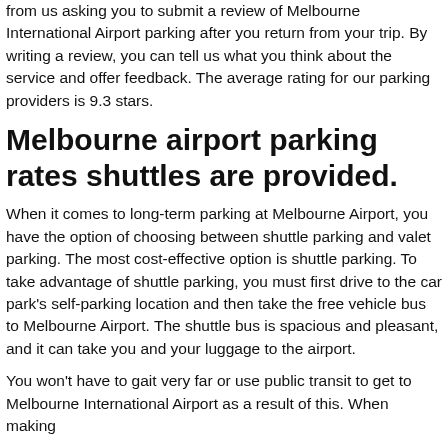from us asking you to submit a review of Melbourne International Airport parking after you return from your trip. By writing a review, you can tell us what you think about the service and offer feedback. The average rating for our parking providers is 9.3 stars.
Melbourne airport parking rates shuttles are provided.
When it comes to long-term parking at Melbourne Airport, you have the option of choosing between shuttle parking and valet parking. The most cost-effective option is shuttle parking. To take advantage of shuttle parking, you must first drive to the car park's self-parking location and then take the free vehicle bus to Melbourne Airport. The shuttle bus is spacious and pleasant, and it can take you and your luggage to the airport.
You won't have to gait very far or use public transit to get to Melbourne International Airport as a result of this. When making